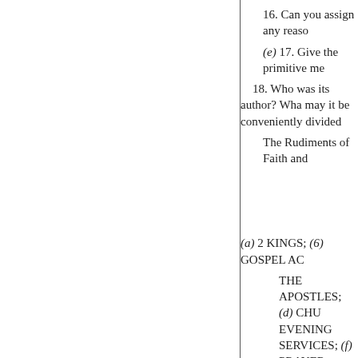16. Can you assign any reaso
(e) 17. Give the primitive me
18. Who was its author? Wha may it be conveniently divided
The Rudiments of Faith and
(a) 2 KINGS; (6) GOSPEL AC
THE APOSTLES; (d) CHU EVENING SERVICES; (f) PRAYER-BOOK.
(a) 1. Discuss the authorship dates.
2. “My father, my father! the words spoken ? Does there seem
3. Junior Paper, No. 2. 4. Junior
(6) 5. What was St. John’s ob proofs.